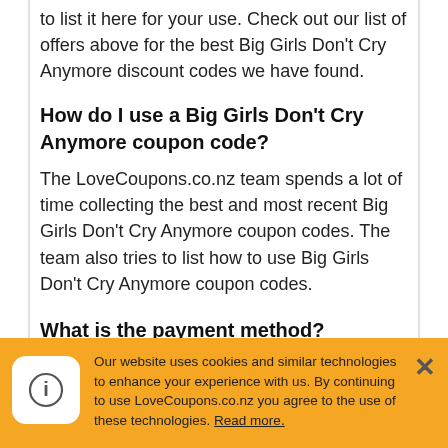to list it here for your use. Check out our list of offers above for the best Big Girls Don't Cry Anymore discount codes we have found.
How do I use a Big Girls Don't Cry Anymore coupon code?
The LoveCoupons.co.nz team spends a lot of time collecting the best and most recent Big Girls Don't Cry Anymore coupon codes. The team also tries to list how to use Big Girls Don't Cry Anymore coupon codes.
What is the payment method?
Big Girls Don't Cry Anymore accepts Mastercard, Visa, PayPal, and Afterpay.
Our website uses cookies and similar technologies to enhance your experience with us. By continuing to use LoveCoupons.co.nz you agree to the use of these technologies. Read more.